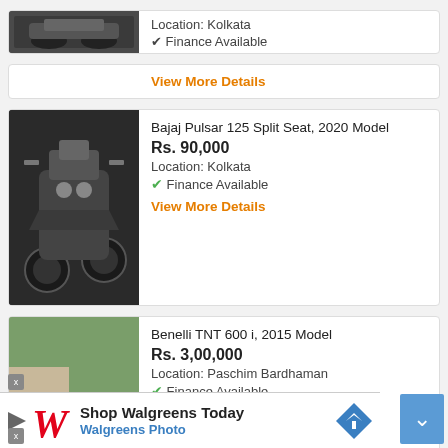[Figure (photo): Partial view of a motorcycle listing card at top of page]
Location: Kolkata
Finance Available
View More Details
[Figure (photo): Photo of a Bajaj Pulsar 125 Split Seat motorcycle, dark colored, viewed from above]
Bajaj Pulsar 125 Split Seat, 2020 Model
Rs. 90,000
Location: Kolkata
Finance Available
View More Details
[Figure (photo): Photo of a white and black Benelli TNT 600 i motorcycle parked outdoors with greenery in background]
Benelli TNT 600 i, 2015 Model
Rs. 3,00,000
Location: Paschim Bardhaman
Finance Available
View More Details
[Figure (screenshot): Walgreens advertisement banner: Shop Walgreens Today - Walgreens Photo]